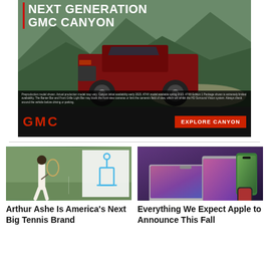[Figure (photo): GMC Canyon Next Generation truck advertisement. Dark red/maroon pickup truck driving on a dirt road with mountain scenery. Text reads 'NEXT GENERATION GMC CANYON'. Bottom bar shows GMC logo in red and an 'EXPLORE CANYON' red button. Small disclaimer text at bottom.]
[Figure (photo): Two-panel image: Left shows Arthur Ashe playing tennis on a court in white outfit; Right shows a white trophy/cup illustration on white background.]
Arthur Ashe Is America's Next Big Tennis Brand
[Figure (photo): Apple products lineup showing MacBook laptop, iPad tablet, iPhone, and Apple Watch against a dark purple/gradient background.]
Everything We Expect Apple to Announce This Fall